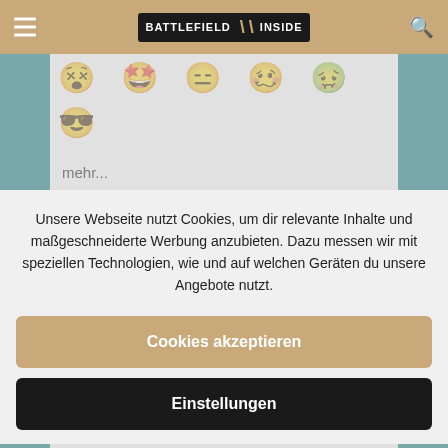BATTLEFIELD INSIDE
[Figure (illustration): Row of yellow emoji faces with expressions, plus a cool sunglasses emoji]
mehr...
Unsere Webseite nutzt Cookies, um dir relevante Inhalte und maßgeschneiderte Werbung anzubieten. Dazu messen wir mit speziellen Technologien, wie und auf welchen Geräten du unsere Angebote nutzt.
Cookies akzeptieren
Einstellungen
Themen: 0